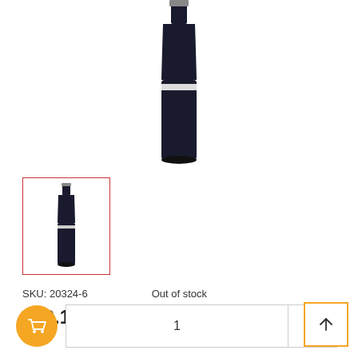[Figure (photo): Wine bottle - Vistamar Merlot, Valle Central, Chile. Dark bottle with white label showing wave design and Vistamar branding.]
[Figure (photo): Thumbnail image of the same Vistamar Merlot wine bottle, shown in a red-bordered box.]
SKU: 20324-6    Out of stock
£39.16 Ex.Vat